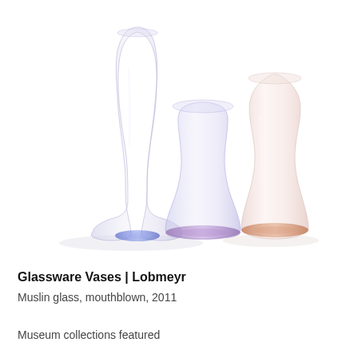[Figure (photo): Three mouthblown glass vases by Lobmeyr. On the left, a tall slender carafe-style vase in pale lavender with a blue-tinted base. In the center, a short wide-bottomed rounded bowl-shaped vase in pale lavender with a violet base. On the right, a medium-height rounded bulbous vase in frosted pale pink/rose with an amber-orange base. All vases are translucent and set against a white background.]
Glassware Vases | Lobmeyr
Muslin glass, mouthblown, 2011
Museum collections featured